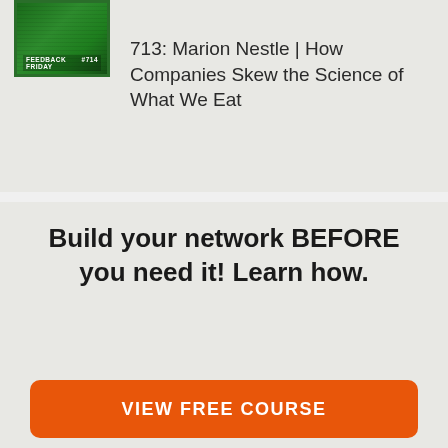[Figure (illustration): Postage stamp with green background showing 'FEEDBACK FRIDAY #714' text at the bottom, partially visible at top-left of the top panel]
713: Marion Nestle | How Companies Skew the Science of What We Eat
Build your network BEFORE you need it! Learn how.
VIEW FREE COURSE